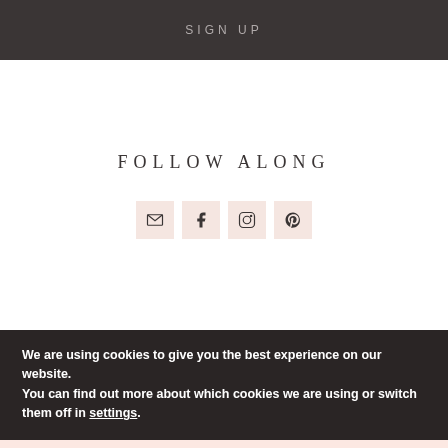SIGN UP
FOLLOW ALONG
[Figure (infographic): Row of four social media icons (email, Facebook, Instagram, Pinterest) each in a pink square box]
We are using cookies to give you the best experience on our website.
You can find out more about which cookies we are using or switch them off in settings.
402 Shares — social share bar with Facebook, Twitter, Google+, Pinterest (402), Reddit, Yummly, crown icon